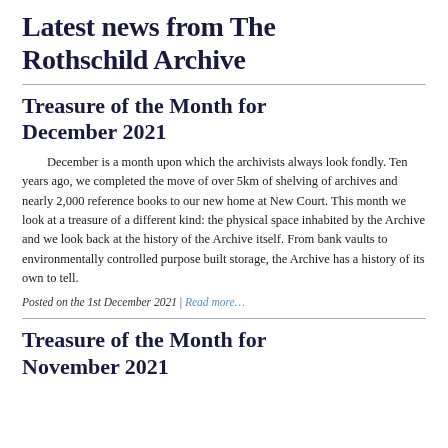Latest news from The Rothschild Archive
Treasure of the Month for December 2021
December is a month upon which the archivists always look fondly. Ten years ago, we completed the move of over 5km of shelving of archives and nearly 2,000 reference books to our new home at New Court. This month we look at a treasure of a different kind: the physical space inhabited by the Archive and we look back at the history of the Archive itself. From bank vaults to environmentally controlled purpose built storage, the Archive has a history of its own to tell.
Posted on the 1st December 2021 | Read more…
Treasure of the Month for November 2021